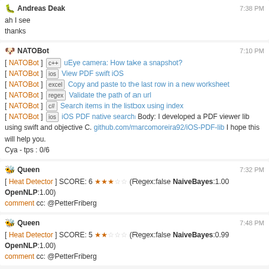Andreas Deak 7:38 PM
ah I see
thanks
NATOBot 7:10 PM
[ NATOBot ] c++ uEye camera: How take a snapshot?
[ NATOBot ] ios View PDF swift iOS
[ NATOBot ] excel Copy and paste to the last row in a new worksheet
[ NATOBot ] regex Validate the path of an url
[ NATOBot ] c# Search items in the listbox using index
[ NATOBot ] ios iOS PDF native search Body: I developed a PDF viewer lib using swift and objective C. github.com/marcomoreira92/iOS-PDF-lib I hope this will help you.
Cya - tps : 0/6
Queen 7:32 PM
[ Heat Detector ] SCORE: 6 ★★★☆☆ (Regex:false NaiveBayes:1.00 OpenNLP:1.00)
comment cc: @PetterFriberg
Queen 7:48 PM
[ Heat Detector ] SCORE: 5 ★★☆☆☆ (Regex:false NaiveBayes:0.99 OpenNLP:1.00)
comment cc: @PetterFriberg
0 - 13h | 13 - 15h | 15 - 20h | 20 - 21h | 21 - 23h
← prev day | next day → | last day »
join this room